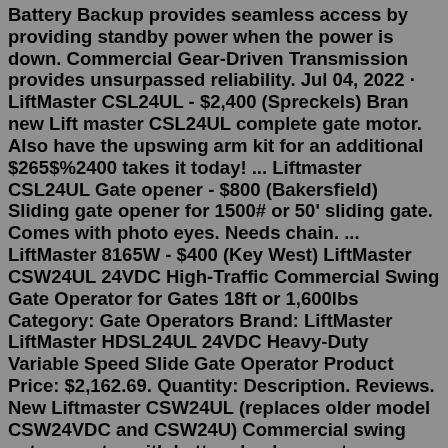Battery Backup provides seamless access by providing standby power when the power is down. Commercial Gear-Driven Transmission provides unsurpassed reliability. Jul 04, 2022 · LiftMaster CSL24UL - $2,400 (Spreckels) Bran new Lift master CSL24UL complete gate motor. Also have the upswing arm kit for an additional $265$%2400 takes it today! ... Liftmaster CSL24UL Gate opener - $800 (Bakersfield) Sliding gate opener for 1500# or 50' sliding gate. Comes with photo eyes. Needs chain. ... LiftMaster 8165W - $400 (Key West) LiftMaster CSW24UL 24VDC High-Traffic Commercial Swing Gate Operator for Gates 18ft or 1,600lbs Category: Gate Operators Brand: LiftMaster LiftMaster HDSL24UL 24VDC Heavy-Duty Variable Speed Slide Gate Operator Product Price: $2,162.69. Quantity: Description. Reviews. New Liftmaster CSW24UL (replaces older model CSW24VDC and CSW24U) Commercial swing gate operator with battery backup system. Updated unit complies with new UL325 code revised Aug 2018. System now requires monitored